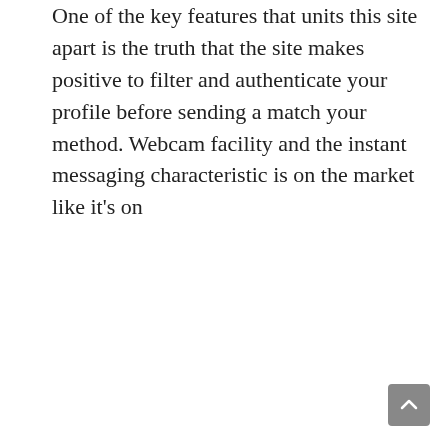people online from all over the world and befriending some of them too. This chat room is very unique and has some good options. But the person needs to register on this chat room with their name and password. You can use this service on your cell phones as it presents a really quick and dependable service.
You can also share your first expertise with us right here within the comments section. You can register at no cost and you'll undoubtedly have some nice chats there. Below is the listing of best free chat room websites to make new friends and acquaintances in 2021. This site has the lot of chat rooms where you possibly can interact with strangers. There is also nation clever division for chat room so that you choose as per your selection.
One of the key features that units this site apart is the truth that the site makes positive to filter and authenticate your profile before sending a match your method. Webcam facility and the instant messaging characteristic is on the market like it's on